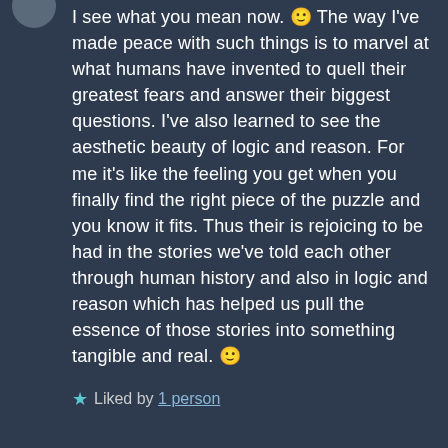[Figure (photo): Partial avatar/profile image at top left corner, circular crop, mostly cut off]
I see what you mean now. 🙂 The way I've made peace with such things is to marvel at what humans have invented to quell their greatest fears and answer their biggest questions. I've also learned to see the aesthetic beauty of logic and reason. For me it's like the feeling you get when you finally find the right piece of the puzzle and you know it fits. Thus their is rejoicing to be had in the stories we've told each other through human history and also in logic and reason which has helped us pull the essence of those stories into something tangible and real. 🙂
★ Liked by 1 person